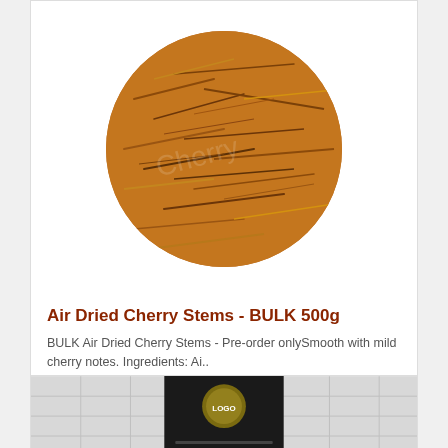[Figure (photo): Circular pile of air dried cherry stems (brown/golden dried plant material) on white background]
Air Dried Cherry Stems - BULK 500g
BULK Air Dried Cherry Stems - Pre-order onlySmooth with mild cherry notes. Ingredients: Ai..
$19.95
[Figure (photo): Black product bag with gold logo label, showing text on back, partial view at bottom of page]